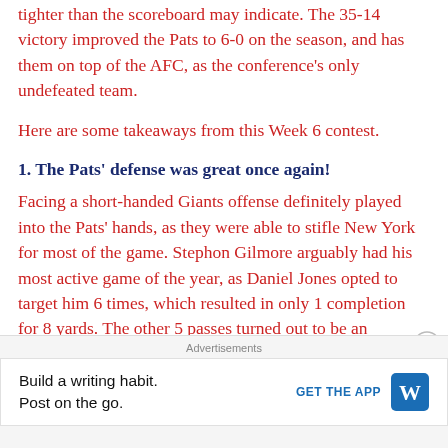tighter than the scoreboard may indicate. The 35-14 victory improved the Pats to 6-0 on the season, and has them on top of the AFC, as the conference's only undefeated team.
Here are some takeaways from this Week 6 contest.
1. The Pats' defense was great once again!
Facing a short-handed Giants offense definitely played into the Pats' hands, as they were able to stifle New York for most of the game. Stephon Gilmore arguably had his most active game of the year, as Daniel Jones opted to target him 6 times, which resulted in only 1 completion for 8 yards. The other 5 passes turned out to be an interception by Gilmore, a deflected pass that
Advertisements
Build a writing habit. Post on the go.
GET THE APP